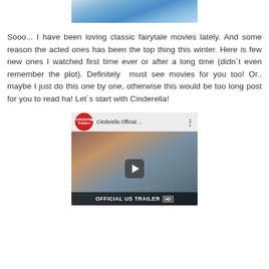[Figure (photo): Partial image of a blue flowing fabric or dress, cropped at top of page]
Sooo... I have been loving classic fairytale movies lately. And some reason the acted ones has been the top thing this winter. Here is few new ones I watched first time ever or after a long time (didn´t even remember the plot). Definitely must see movies for you too! Or.. maybe I just do this one by one, otherwise this would be too long post for you to read ha! Let´s start with Cinderella!
[Figure (screenshot): YouTube video thumbnail for 'Cinderella Official ...' by FilmsNow Trailers channel, showing a young blonde woman with a play button overlay and 'OFFICIAL US TRAILER HD' text at the bottom]